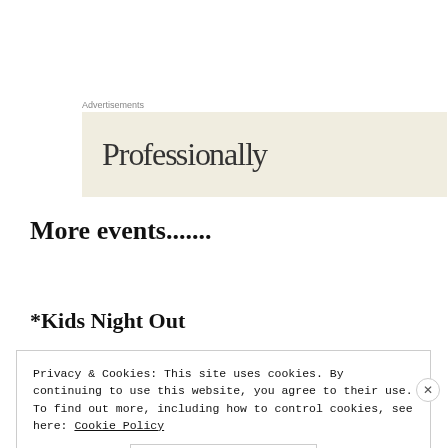Advertisements
[Figure (other): Advertisement banner with partial text 'Professionally' on a beige/cream background]
More events.......
*Kids Night Out
Privacy & Cookies: This site uses cookies. By continuing to use this website, you agree to their use.
To find out more, including how to control cookies, see here: Cookie Policy
Close and accept